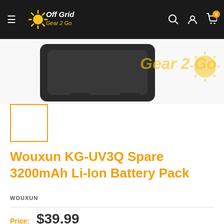[Figure (logo): Off Grid Gear 2 Go logo on dark navigation bar with hamburger menu icon, search, account, and cart icons]
[Figure (photo): Wouxun KG-UV3Q spare battery pack product image, dark grey rectangular battery with yellow Off Grid Gear 2 Go logo watermark]
[Figure (photo): Small thumbnail image of the battery pack with orange border]
Wouxun KG-UV3Q Spare 3200mAh Li-Ion Battery Pack
WOUXUN
Price: $39.99